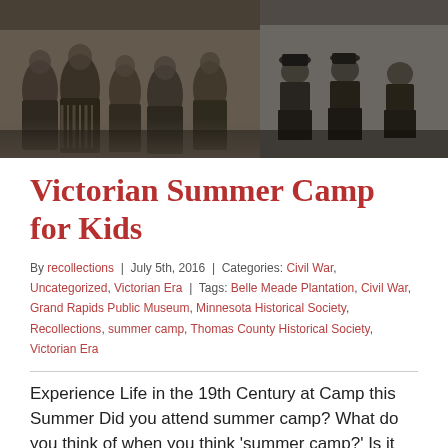[Figure (photo): Black and white historical photograph split into two panels: left side shows Victorian-era women and children in period dress, right side shows Civil War era military officers seated together.]
Victorian Summer Camp for Kids
By recollections | July 5th, 2016 | Categories: Civil War, Uncategorized, Victorian Era | Tags: Belle Meade Plantation, Civil War, Grand Rapids Public Museum, Minnesota Historical Society, Recollections, summer camp, Thomas County Historical Society, Victorian Era
Experience Life in the 19th Century at Camp this Summer Did you attend summer camp? What do you think of when you think 'summer camp?' Is it running around outdoors, getting dirty, maybe do some swimming, a few crafts